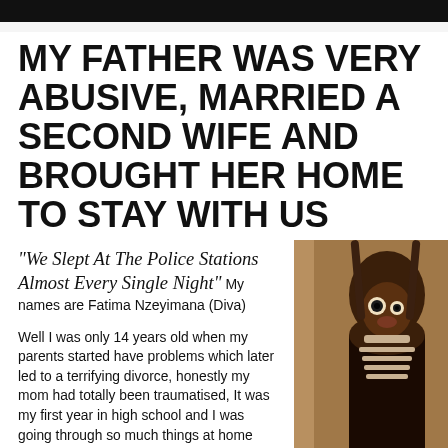MY FATHER WAS VERY ABUSIVE, MARRIED A SECOND WIFE AND BROUGHT HER HOME TO STAY WITH US
"We Slept At The Police Stations Almost Every Single Night" My names are Fatima Nzeyimana (Diva)
[Figure (photo): Portrait photo of a young woman wearing a dark top and necklace, with braided hair]
Well I was only 14 years old when my parents started have problems which later led to a terrifying divorce, honestly my mom had totally been traumatised, It was my first year in high school and I was going through so much things at home was a mess, court every single week no stop. My father was very abusive he had married a second wife